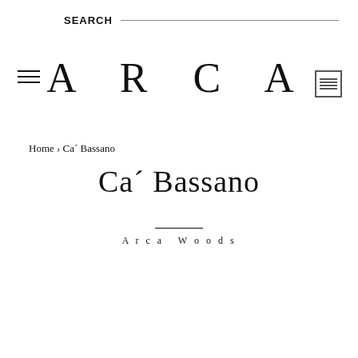SEARCH
ARCA
Home › Ca´ Bassano
Ca´ Bassano
Arca Woods